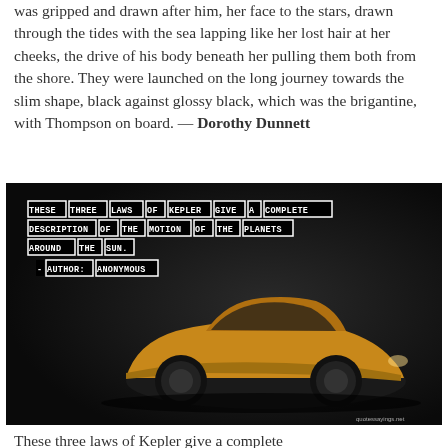was gripped and drawn after him, her face to the stars, drawn through the tides with the sea lapping like her lost hair at her cheeks, the drive of his body beneath her pulling them both from the shore. They were launched on the long journey towards the slim shape, black against glossy black, which was the brigantine, with Thompson on board. — Dorothy Dunnett
[Figure (photo): Dark background image with a yellow sports car (McLaren) and white text boxes forming a quote: THESE THREE LAWS OF KEPLER GIVE A COMPLETE DESCRIPTION OF THE MOTION OF THE PLANETS AROUND THE SUN. - AUTHOR: ANONYMOUS. Watermark: quotessayings.net]
These three laws of Kepler give a complete